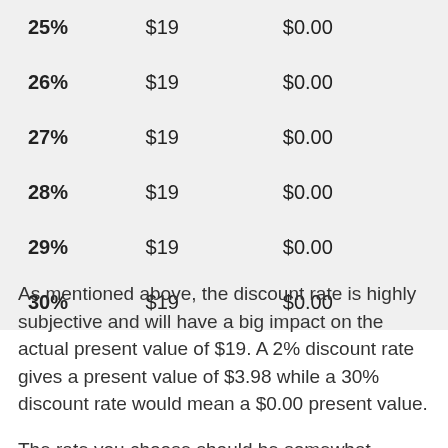| Rate | Value | Present Value |
| --- | --- | --- |
| 25% | $19 | $0.00 |
| 26% | $19 | $0.00 |
| 27% | $19 | $0.00 |
| 28% | $19 | $0.00 |
| 29% | $19 | $0.00 |
| 30% | $19 | $0.00 |
As mentioned above, the discount rate is highly subjective and will have a big impact on the actual present value of $19. A 2% discount rate gives a present value of $3.98 while a 30% discount rate would mean a $0.00 present value.
The rate you choose should be somewhat